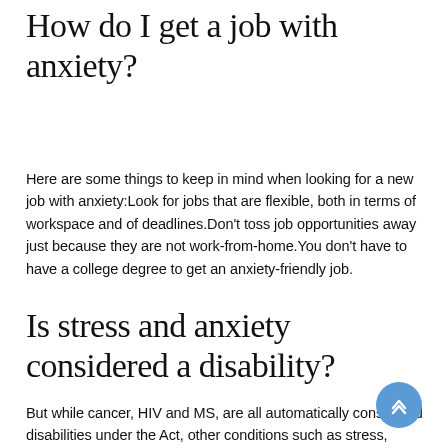How do I get a job with anxiety?
Here are some things to keep in mind when looking for a new job with anxiety:Look for jobs that are flexible, both in terms of workspace and of deadlines.Don't toss job opportunities away just because they are not work-from-home.You don't have to have a college degree to get an anxiety-friendly job.
Is stress and anxiety considered a disability?
But while cancer, HIV and MS, are all automatically considered disabilities under the Act, other conditions such as stress, anxiety and depression will only be deemed disabilities if they